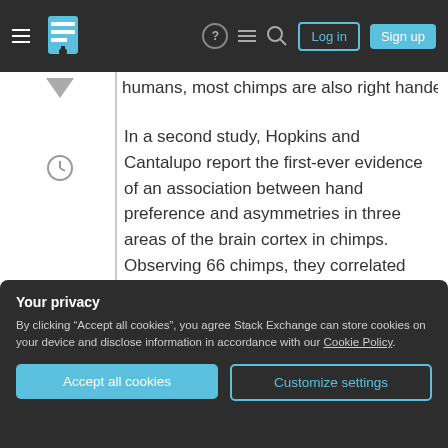Stack Exchange navigation bar with hamburger menu, logo, help, chat, search icons, Log in and Sign up buttons
humans, most chimps are also right handed.
In a second study, Hopkins and Cantalupo report the first-ever evidence of an association between hand preference and asymmetries in three areas of the brain cortex in chimps. Observing 66 chimps, they correlated asymmetries in brain anatomy with three measures of handedness: Simple reaching (which hand chimps used to pick up a raisin thrown into
Your privacy
By clicking “Accept all cookies”, you agree Stack Exchange can store cookies on your device and disclose information in accordance with our Cookie Policy.
Accept all cookies
Customize settings
butter from a plastic tube with a finger).